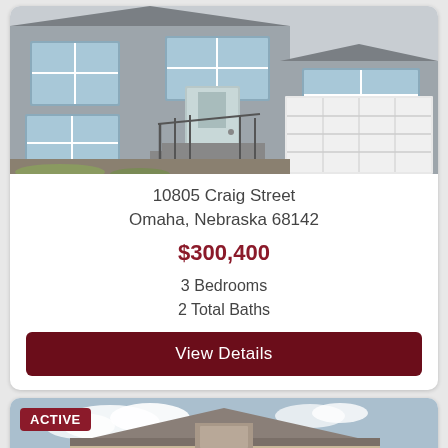[Figure (photo): Exterior photo of a two-story residential house with gray siding, white trim windows, black railing staircase, and two-car garage]
10805 Craig Street
Omaha, Nebraska 68142
$300,400
3 Bedrooms
2 Total Baths
View Details
ACTIVE
[Figure (photo): Partial exterior photo of a residential house with tan/beige siding and blue sky with clouds in background]